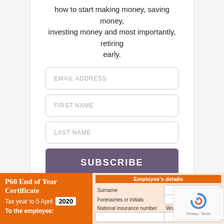how to start making money, saving money, investing money and most importantly, retiring early.
EMAIL ADDRESS
FIRST NAME
LAST NAME
SUBSCRIBE
Powered by EmailOctopus
P60 End of Year Certificate
Tax year to 5 April 2020
To the employee:
| Employee's details |  |
| --- | --- |
| Surname |  |
| Forenames or initials |  |
| National insurance number | Works/payroll number |